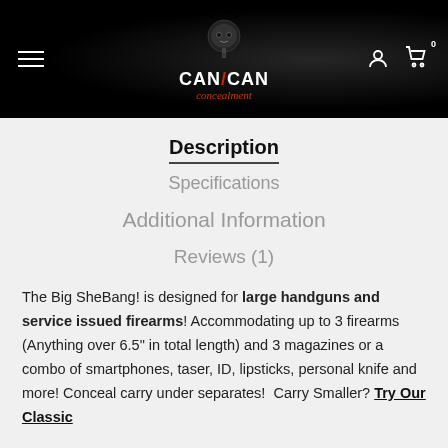CanCan Concealment
Description
Specifications
Additional Information
Reviews (1)
The Big SheBang! is designed for large handguns and service issued firearms! Accommodating up to 3 firearms (Anything over 6.5" in total length) and 3 magazines or a combo of smartphones, taser, ID, lipsticks, personal knife and more! Conceal carry under separates!  Carry Smaller? Try Our Classic